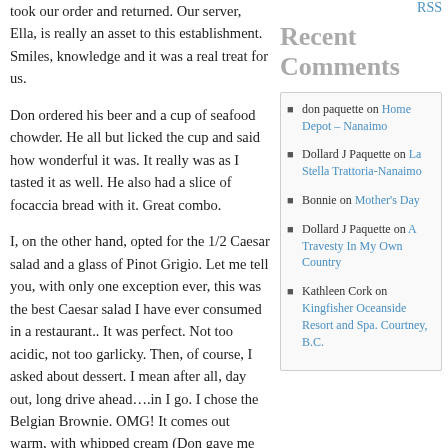took our order and returned. Our server, Ella, is really an asset to this establishment. Smiles, knowledge and it was a real treat for us.
Don ordered his beer and a cup of seafood chowder. He all but licked the cup and said how wonderful it was. It really was as I tasted it as well. He also had a slice of focaccia bread with it. Great combo.
I, on the other hand, opted for the 1/2 Caesar salad and a glass of Pinot Grigio. Let me tell you, with only one exception ever, this was the best Caesar salad I have ever consumed in a restaurant.. It was perfect. Not too acidic, not too garlicky. Then, of course, I asked about dessert. I mean after all, day out, long drive ahead….in I go. I chose the Belgian Brownie. OMG! It comes out warm, with whipped cream (Don gave me his share of the cream). I cut it
RSS
Recent Comments
don paquette on Home Depot – Nanaimo
Dollard J Paquette on La Stella Trattoria-Nanaimo
Bonnie on Mother's Day
Dollard J Paquette on A Travesty In My Own Country
Kathleen Cork on Kingfisher Oceanside Resort and Spa. Courtney, B.C.